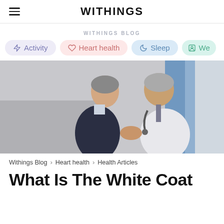WITHINGS
WITHINGS BLOG
Activity
Heart health
Sleep
We...
[Figure (photo): A man in a dark suit shaking hands with a doctor in a white coat with a stethoscope, in a clinical setting with blue accents in background.]
Withings Blog > Heart health > Health Articles
What Is The White Coat...